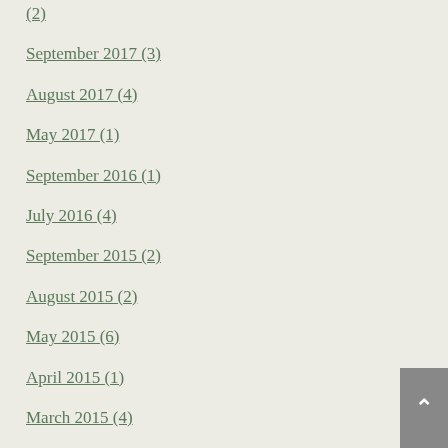(2)
September 2017 (3)
August 2017 (4)
May 2017 (1)
September 2016 (1)
July 2016 (4)
September 2015 (2)
August 2015 (2)
May 2015 (6)
April 2015 (1)
March 2015 (4)
February 2015 (2)
January 2015 (3)
December 2014 (3)